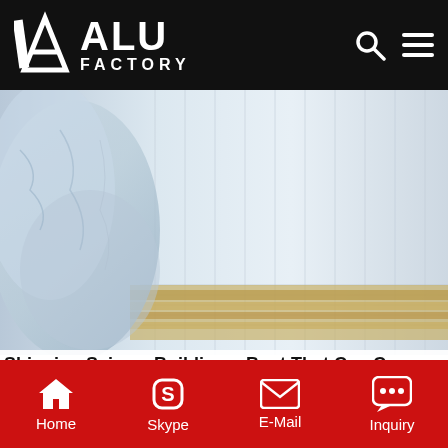ALU FACTORY
[Figure (photo): Two stacked photos: top photo shows aluminum sheets with plastic wrapping, bottom photo shows packaged aluminum plates with strapping bands.]
Shipping ScienceBuilding a Boat That Can Carry Cargo
Home  Skype  E-Mail  Inquiry